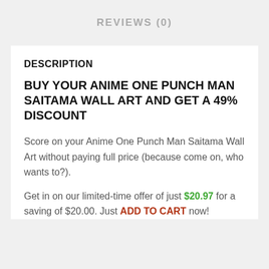REVIEWS (0)
DESCRIPTION
BUY YOUR ANIME ONE PUNCH MAN SAITAMA WALL ART AND GET A 49% DISCOUNT
Score on your Anime One Punch Man Saitama Wall Art without paying full price (because come on, who wants to?).
Get in on our limited-time offer of just $20.97 for a saving of $20.00. Just ADD TO CART now!